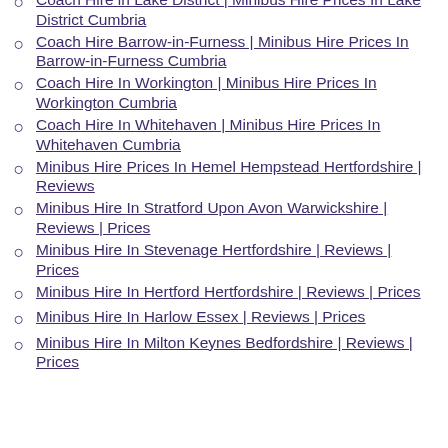Coach Hire in Lake District | Minibus Hire Prices In Lake District Cumbria
Coach Hire Barrow-in-Furness | Minibus Hire Prices In Barrow-in-Furness Cumbria
Coach Hire In Workington | Minibus Hire Prices In Workington Cumbria
Coach Hire In Whitehaven | Minibus Hire Prices In Whitehaven Cumbria
Minibus Hire Prices In Hemel Hempstead Hertfordshire | Reviews
Minibus Hire In Stratford Upon Avon Warwickshire | Reviews | Prices
Minibus Hire In Stevenage Hertfordshire | Reviews | Prices
Minibus Hire In Hertford Hertfordshire | Reviews | Prices
Minibus Hire In Harlow Essex | Reviews | Prices
Minibus Hire In Milton Keynes Bedfordshire | Reviews | Prices